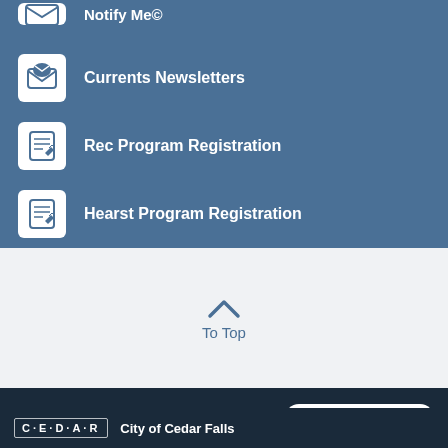Currents Newsletters
Rec Program Registration
Hearst Program Registration
To Top
Contact Us
City of Cedar Falls